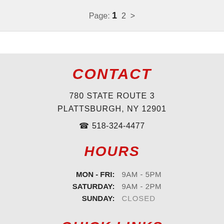Page: 1 2 >
CONTACT
780 STATE ROUTE 3
PLATTSBURGH, NY 12901
☎ 518-324-4477
HOURS
MON - FRI: 9AM - 5PM
SATURDAY: 9AM - 2PM
SUNDAY: CLOSED
QUICK LINKS
ALL INVENTORY